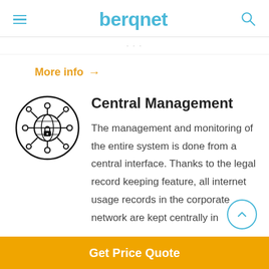berqnet
More info →
Central Management
[Figure (logo): Network/globe icon with connected nodes and a lock symbol, inside a circle]
The management and monitoring of the entire system is done from a central interface. Thanks to the legal record keeping feature, all internet usage records in the corporate network are kept centrally in
Get Price Quote